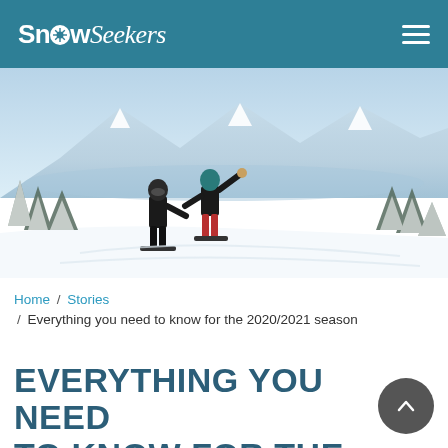SnowSeekers
[Figure (photo): Two snowboarders holding hands on a snowy mountain slope with snow-covered trees and mountain range in background under a blue sky.]
Home / Stories / Everything you need to know for the 2020/2021 season
EVERYTHING YOU NEED TO KNOW FOR THE